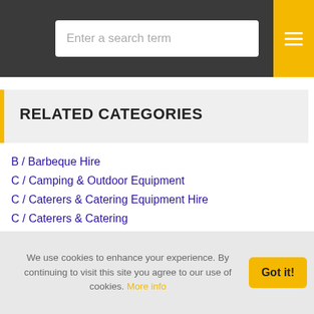Enter a search term
RELATED CATEGORIES
B / Barbeque Hire
C / Camping & Outdoor Equipment
C / Caterers & Catering Equipment Hire
C / Caterers & Catering
C / Cookery Books
C / Cookery Courses & Training
C / Crockery, Cutlery & Accessory Hire
F / Food Smokers & Accessories
G / Garden Centres
G / Garden Furniture
We use cookies to enhance your experience. By continuing to visit this site you agree to our use of cookies. More info